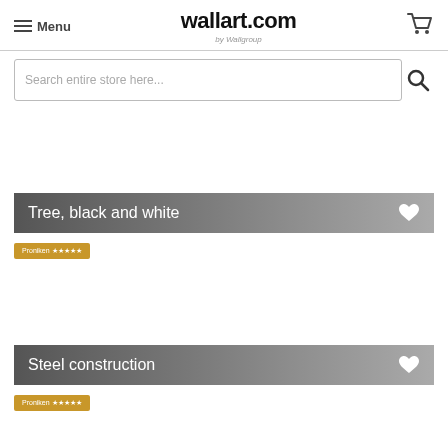Menu | wallart.com by Wallgroup
Search entire store here...
Tree, black and white
Proniken ★★★★★
Steel construction
Proniken ★★★★★